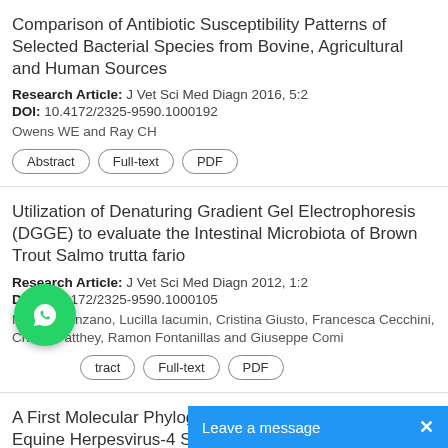Comparison of Antibiotic Susceptibility Patterns of Selected Bacterial Species from Bovine, Agricultural and Human Sources
Research Article: J Vet Sci Med Diagn 2016, 5:2
DOI: 10.4172/2325-9590.1000192
Owens WE and Ray CH
Abstract | Full-text | PDF
Utilization of Denaturing Gradient Gel Electrophoresis (DGGE) to evaluate the Intestinal Microbiota of Brown Trout Salmo trutta fario
Research Article: J Vet Sci Med Diagn 2012, 1:2
DOI: 10.4172/2325-9590.1000105
Marisa Manzano, Lucilla Iacumin, Cristina Giusto, Francesca Cecchini, Chiara Patthey, Ramon Fontanillas and Giuseppe Comi
Abstract | Full-text | PDF
A First Molecular Phylogen... Equine Herpesvirus-4 Strai...
[Figure (other): WhatsApp contact bubble (green circle with phone handset icon)]
[Figure (other): Blue 'Leave a message' chat bar with X close button]